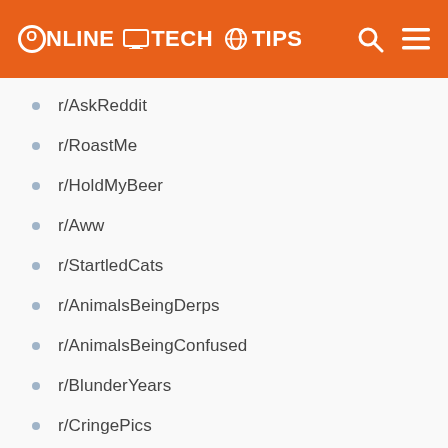ONLINE TECH TIPS
r/AskReddit
r/RoastMe
r/HoldMyBeer
r/Aww
r/StartledCats
r/AnimalsBeingDerps
r/AnimalsBeingConfused
r/BlunderYears
r/CringePics
r/DiWHY
r/ContagiousLaughter
r/ThereWasAnAttempt